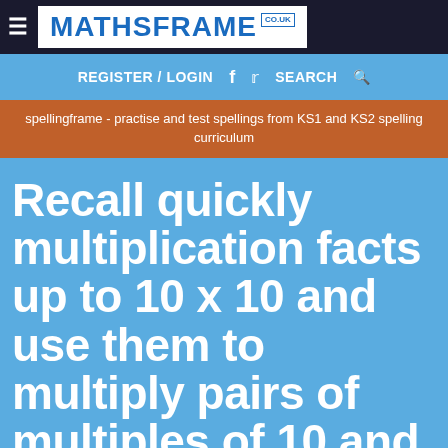≡ MATHSFRAME co.uk
REGISTER / LOGIN  f  🐦  SEARCH🔍
spellingframe - practise and test spellings from KS1 and KS2 spelling curriculum
Recall quickly multiplication facts up to 10 x 10 and use them to multiply pairs of multiples of 10 and 100; derive quickly corresponding